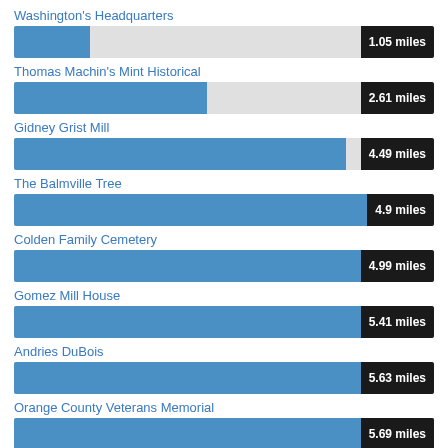Washington's Headquarters
[Figure (bar-chart): Distance in miles]